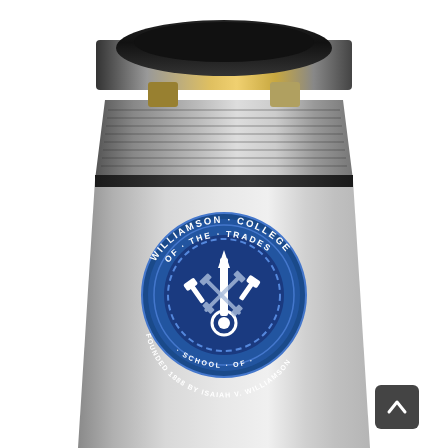[Figure (photo): A stainless steel travel mug/tumbler with a screw-top lid. The body is brushed silver metal. On the front is a blue circular seal reading 'WILLIAMSON COLLEGE OF THE TRADES' with tools (hammers, wrench, gear) in the center and 'FOUNDED 1888 BY ISAIAH V. WILLIAMSON • SCHOOL OF •' around the inner ring.]